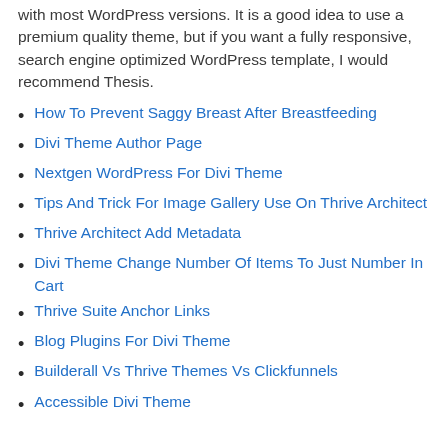with most WordPress versions. It is a good idea to use a premium quality theme, but if you want a fully responsive, search engine optimized WordPress template, I would recommend Thesis.
How To Prevent Saggy Breast After Breastfeeding
Divi Theme Author Page
Nextgen WordPress For Divi Theme
Tips And Trick For Image Gallery Use On Thrive Architect
Thrive Architect Add Metadata
Divi Theme Change Number Of Items To Just Number In Cart
Thrive Suite Anchor Links
Blog Plugins For Divi Theme
Builderall Vs Thrive Themes Vs Clickfunnels
Accessible Divi Theme